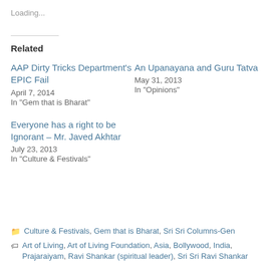Loading...
Related
AAP Dirty Tricks Department's EPIC Fail
April 7, 2014
In "Gem that is Bharat"
An Upanayana and Guru Tatva
May 31, 2013
In "Opinions"
Everyone has a right to be Ignorant – Mr. Javed Akhtar
July 23, 2013
In "Culture & Festivals"
Culture & Festivals, Gem that is Bharat, Sri Sri Columns-Gen
Art of Living, Art of Living Foundation, Asia, Bollywood, India, Prajaraiyam, Ravi Shankar (spiritual leader), Sri Sri Ravi Shankar